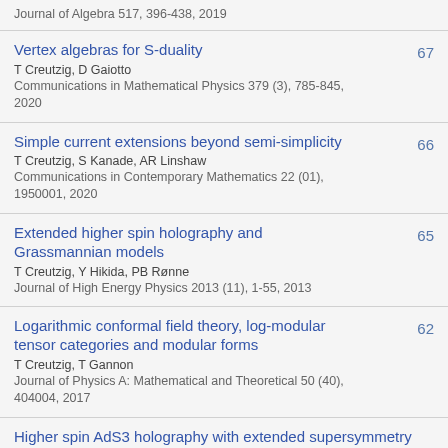Journal of Algebra 517, 396-438, 2019
Vertex algebras for S-duality
T Creutzig, D Gaiotto
Communications in Mathematical Physics 379 (3), 785-845, 2020
67
Simple current extensions beyond semi-simplicity
T Creutzig, S Kanade, AR Linshaw
Communications in Contemporary Mathematics 22 (01), 1950001, 2020
66
Extended higher spin holography and Grassmannian models
T Creutzig, Y Hikida, PB Rønne
Journal of High Energy Physics 2013 (11), 1-55, 2013
65
Logarithmic conformal field theory, log-modular tensor categories and modular forms
T Creutzig, T Gannon
Journal of Physics A: Mathematical and Theoretical 50 (40), 404004, 2017
62
Higher spin AdS3 holography with extended supersymmetry